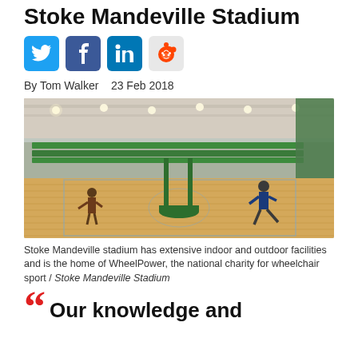Stoke Mandeville Stadium
[Figure (other): Social media sharing icons: Twitter (blue bird), Facebook (blue f), LinkedIn (blue in), Reddit (alien logo on light background)]
By Tom Walker   23 Feb 2018
[Figure (photo): Indoor sports hall of Stoke Mandeville Stadium showing a large court with wooden floor, green stadium seating in the background, hanging lights from a high ceiling, green net posts on the court, and two people playing badminton.]
Stoke Mandeville stadium has extensive indoor and outdoor facilities and is the home of WheelPower, the national charity for wheelchair sport / Stoke Mandeville Stadium
Our knowledge and